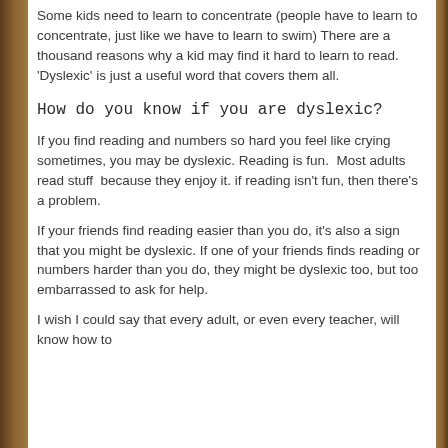Some kids need to learn to concentrate (people have to learn to concentrate, just like we have to learn to swim) There are a thousand reasons why a kid may find it hard to learn to read. 'Dyslexic' is just a useful word that covers them all.
How do you know if you are dyslexic?
If you find reading and numbers so hard you feel like crying sometimes, you may be dyslexic. Reading is fun.  Most adults read stuff  because they enjoy it. if reading isn't fun, then there's a problem.
If your friends find reading easier than you do, it's also a sign that you might be dyslexic. If one of your friends finds reading or numbers harder than you do, they might be dyslexic too, but too embarrassed to ask for help.
I wish I could say that every adult, or even every teacher, will know how to